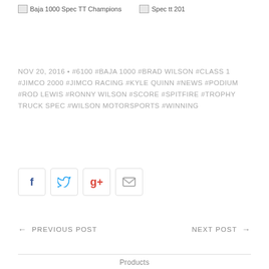[Figure (photo): Two image placeholders side by side: 'Baja 1000 Spec TT Champions' and 'Spec tt 201']
NOV 20, 2016 • #6100 #BAJA 1000 #BRAD WILSON #CLASS 1 #JIMCO 2000 #JIMCO RACING #KYLE QUINN #NEWS #PODIUM #ROD LEWIS #RONNY WILSON #SCORE #SPITFIRE #TROPHY TRUCK SPEC #WILSON MOTORSPORTS #WINNING
[Figure (other): Social share buttons: Facebook, Twitter, Google+, Email]
← PREVIOUS POST    NEXT POST →
Products